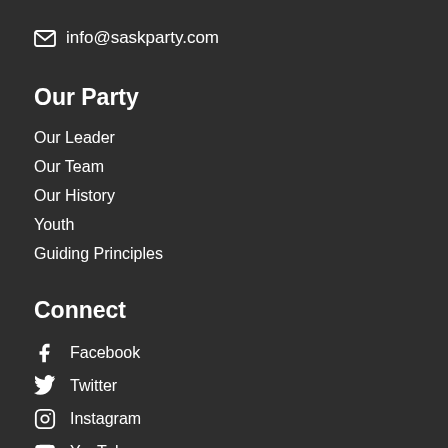info@saskparty.com
Our Party
Our Leader
Our Team
Our History
Youth
Guiding Principles
Connect
Facebook
Twitter
Instagram
YouTube